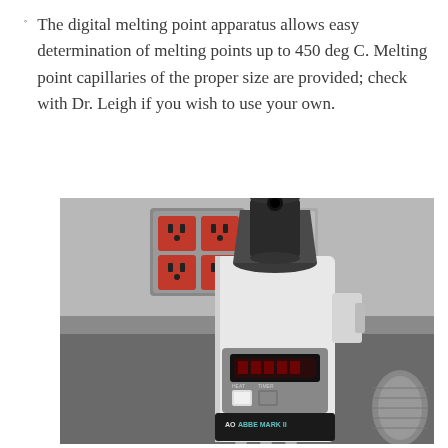The digital melting point apparatus allows easy determination of melting points up to 450 deg C. Melting point capillaries of the proper size are provided; check with Dr. Leigh if you wish to use your own.
[Figure (photo): Photograph of a digital melting point apparatus (AO Abbe Mark II) on a lab bench, with red electrical outlets visible on the wall behind it. The device is white with a dark cylindrical optical head on top, a digital display panel, and buttons labeled on the front.]